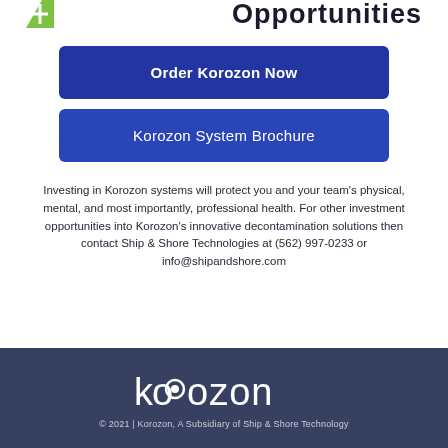+ Opportunities
Order Korozon Now
Korozon System Brochure
Investing in Korozon systems will protect you and your team's physical, mental, and most importantly, professional health. For other investment opportunities into Korozon's innovative decontamination solutions then contact Ship & Shore Technologies at (562) 997-0233 or info@shipandshore.com
© 2021 | Korozon, A Subsidiary of Ship & Shore Technology